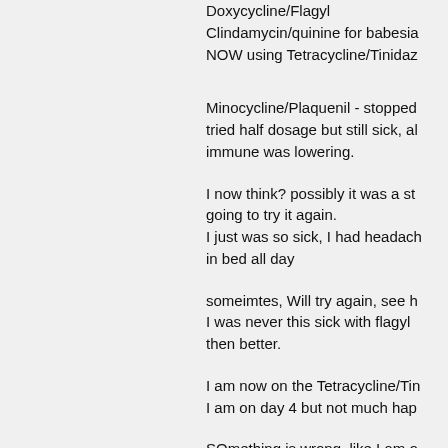Doxycycline/Flagyl
Clindamycin/quinine for babesia
NOW using Tetracycline/Tinidaz
Minocycline/Plaquenil - stopped
tried half dosage but still sick, al
immune was lowering.
I now think? possibly it was a st
going to try it again.
I just was so sick, I had headach
in bed all day
someimtes, Will try again, see h
I was never this sick with flagyl 
then better.
I am now on the Tetracycline/Tin
I am on day 4 but not much hap
SOmething is wrong, like I am o
antibiotics, it is like they are not
to,
Where I am weak, from deep wi
need IV because the IV goes de
like I do now, something is wron
I am being tested for bartonella
but I dont think bartonella can m